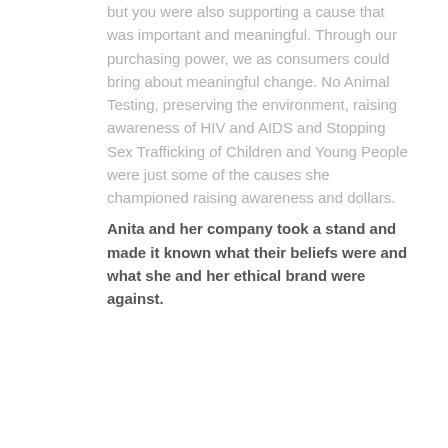but you were also supporting a cause that was important and meaningful. Through our purchasing power, we as consumers could bring about meaningful change. No Animal Testing, preserving the environment, raising awareness of HIV and AIDS and Stopping Sex Trafficking of Children and Young People were just some of the causes she championed raising awareness and dollars.
Anita and her company took a stand and made it known what their beliefs were and what she and her ethical brand were against.